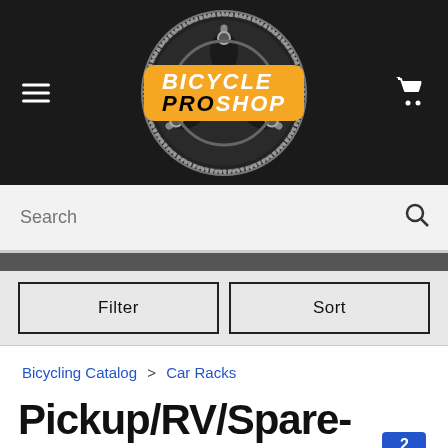[Figure (logo): Bicycle Pro Shop logo with gear/chainring graphic and orange badge with white/black bold italic text]
Search
Filter
Sort
Bicycling Catalog > Car Racks
Pickup/RV/Spare-Tire